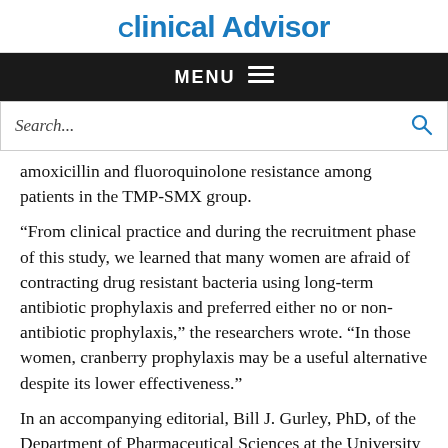Clinical Advisor
MENU
Search...
amoxicillin and fluoroquinolone resistance among patients in the TMP-SMX group.
“From clinical practice and during the recruitment phase of this study, we learned that many women are afraid of contracting drug resistant bacteria using long-term antibiotic prophylaxis and preferred either no or non-antibiotic prophylaxis,” the researchers wrote. “In those women, cranberry prophylaxis may be a useful alternative despite its lower effectiveness.”
In an accompanying editorial, Bill J. Gurley, PhD, of the Department of Pharmaceutical Sciences at the University of Arkansas in Little Rock, pointed out a potential flaw in the